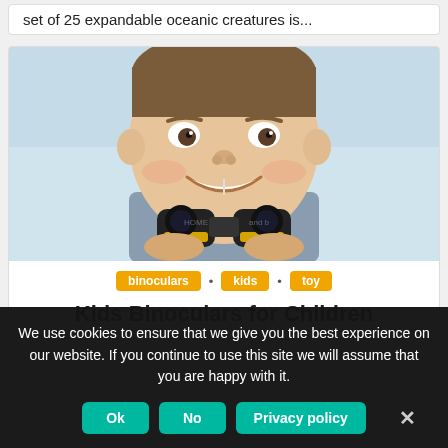set of 25 expandable oceanic creatures is...
[Figure (photo): A smiling boy holding black and yellow binoculars up to chest level, light blue background]
binoculars
kids
toy
Kids Binoculars for Children
We use cookies to ensure that we give you the best experience on our website. If you continue to use this site we will assume that you are happy with it.
Ok   No   Privacy policy